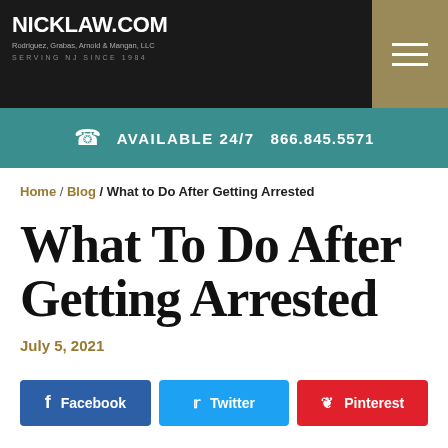NICKLAW.COM | Rodriguez, Grabas, Arnold & Mangan, LLC | SERVING NJ SINCE 1984
AVAILABLE 24/7   866.845.5571
Home / Blog / What to Do After Getting Arrested
What To Do After Getting Arrested
July 5, 2021
Facebook | Twitter | Pinterest